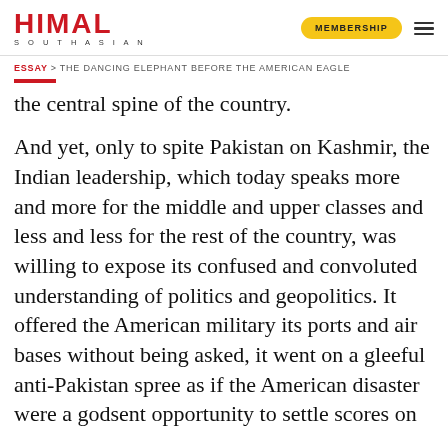HIMAL SOUTHASIAN | MEMBERSHIP
ESSAY > THE DANCING ELEPHANT BEFORE THE AMERICAN EAGLE
the central spine of the country.
And yet, only to spite Pakistan on Kashmir, the Indian leadership, which today speaks more and more for the middle and upper classes and less and less for the rest of the country, was willing to expose its confused and convoluted understanding of politics and geopolitics. It offered the American military its ports and air bases without being asked, it went on a gleeful anti-Pakistan spree as if the American disaster were a godsent opportunity to settle scores on